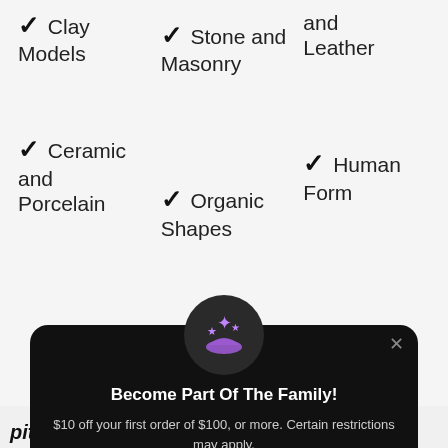✓ Clay Models
✓ Stone and Masonry
and Leather
✓ Ceramic and Porcelain
✓ Organic Shapes
✓ Human Form
[Figure (screenshot): Modal popup with hand-and-stars icon, titled 'Become Part Of The Family!', offering $10 off first order of $100 or more, with a Register button and Sign in link.]
Become Part Of The Family!
$10 off your first order of $100, or more. Certain restrictions may apply.
Register
Already have an account? Sign in
pitch black, small objects fur